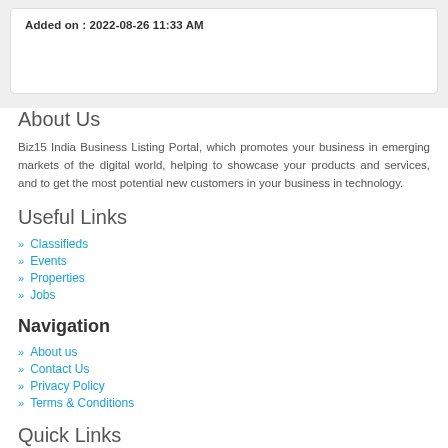Added on : 2022-08-26 11:33 AM
About Us
Biz15 India Business Listing Portal, which promotes your business in emerging markets of the digital world, helping to showcase your products and services, and to get the most potential new customers in your business in technology.
Useful Links
Classifieds
Events
Properties
Jobs
Navigation
About us
Contact Us
Privacy Policy
Terms & Conditions
Quick Links
Browse by Category